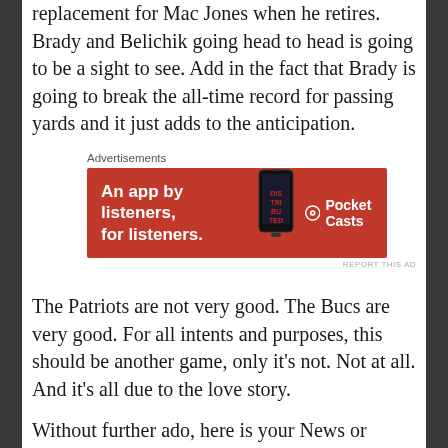replacement for Mac Jones when he retires. Brady and Belichik going head to head is going to be a sight to see. Add in the fact that Brady is going to break the all-time record for passing yards and it just adds to the anticipation.
[Figure (infographic): Pocket Casts advertisement banner: red background with white text 'An app by listeners, for listeners.' and Pocket Casts logo on the right, with a phone image in the center.]
The Patriots are not very good. The Bucs are very good. For all intents and purposes, this should be another game, only it's not. Not at all. And it's all due to the love story.
Without further ado, here is your News or Noise!